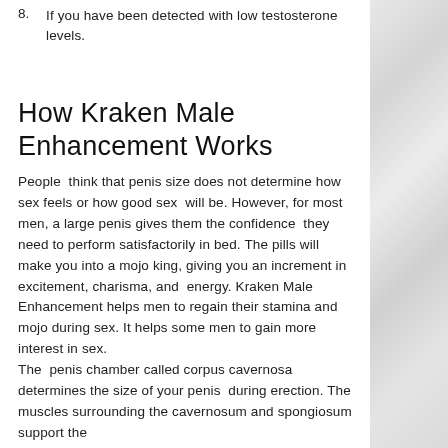8. If you have been detected with low testosterone levels.
How Kraken Male Enhancement Works
People think that penis size does not determine how sex feels or how good sex will be. However, for most men, a large penis gives them the confidence they need to perform satisfactorily in bed. The pills will make you into a mojo king, giving you an increment in excitement, charisma, and energy. Kraken Male Enhancement helps men to regain their stamina and mojo during sex. It helps some men to gain more interest in sex.
The penis chamber called corpus cavernosa determines the size of your penis during erection. The muscles surrounding the cavernosum and spongiosum support the